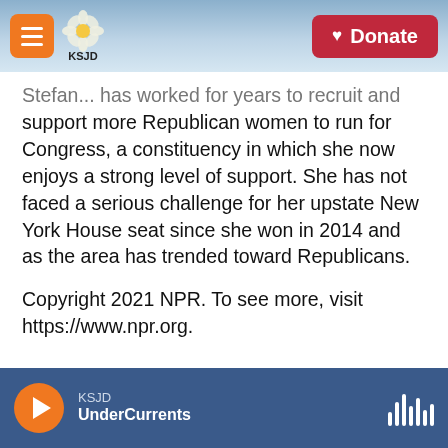KSJD | Donate
Stefan... has worked for years to recruit and support more Republican women to run for Congress, a constituency in which she now enjoys a strong level of support. She has not faced a serious challenge for her upstate New York House seat since she won in 2014 and as the area has trended toward Republicans.
Copyright 2021 NPR. To see more, visit https://www.npr.org.
[Figure (infographic): Social share buttons: Facebook, Twitter, LinkedIn, Email]
KSJD UnderCurrents